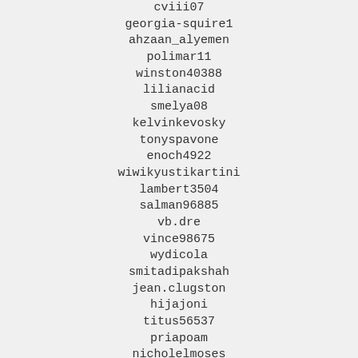cviii07
georgia-squire1
ahzaan_alyemen
polimar11
winston40388
lilianacid
smelya08
kelvinkevosky
tonyspavone
enoch4922
wiwikyustikartini
lambert3504
salman96885
vb.dre
vince98675
wydicola
smitadipakshah
jean.clugston
hijajoni
titus56537
priapoam
nicholelmoses
marlboro_gurl
moomoojizz
www.antoniodbull